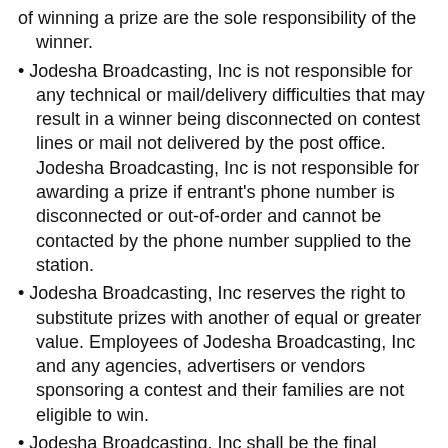of winning a prize are the sole responsibility of the winner.
Jodesha Broadcasting, Inc is not responsible for any technical or mail/delivery difficulties that may result in a winner being disconnected on contest lines or mail not delivered by the post office. Jodesha Broadcasting, Inc is not responsible for awarding a prize if entrant's phone number is disconnected or out-of-order and cannot be contacted by the phone number supplied to the station.
Jodesha Broadcasting, Inc reserves the right to substitute prizes with another of equal or greater value. Employees of Jodesha Broadcasting, Inc and any agencies, advertisers or vendors sponsoring a contest and their families are not eligible to win.
Jodesha Broadcasting, Inc shall be the final arbiter of any questions arise about contestant qualifying procedures and rules, and reserves the right to change rules at any time. Decisions of Jodesha Broadcasting, Inc are final.
All clauses are subject to change effective immediately of